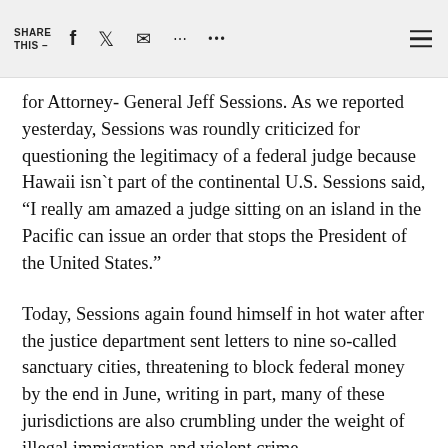SHARE THIS — [social share icons]
for Attorney- General Jeff Sessions. As we reported yesterday, Sessions was roundly criticized for questioning the legitimacy of a federal judge because Hawaii isn`t part of the continental U.S. Sessions said, "I really am amazed a judge sitting on an island in the Pacific can issue an order that stops the President of the United States."
Today, Sessions again found himself in hot water after the justice department sent letters to nine so-called sanctuary cities, threatening to block federal money by the end in June, writing in part, many of these jurisdictions are also crumbling under the weight of illegal immigration and violent crime.
New York City continues to see gang murder after gang